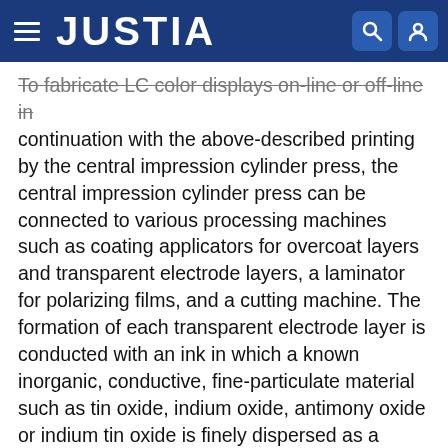JUSTIA
To fabricate LC color displays on-line or off-line in continuation with the above-described printing by the central impression cylinder press, the central impression cylinder press can be connected to various processing machines such as coating applicators for overcoat layers and transparent electrode layers, a laminator for polarizing films, and a cutting machine. The formation of each transparent electrode layer is conducted with an ink in which a known inorganic, conductive, fine-particulate material such as tin oxide, indium oxide, antimony oxide or indium tin oxide is finely dispersed as a conductive material. In the case of the above-described transfer or adhesion process (2), the central impression cylinder press can be connected to an adhesion processing machine or transfer processing machine for adhering or transferring each pixel pattern onto a glass-made CF substrate or plastic-